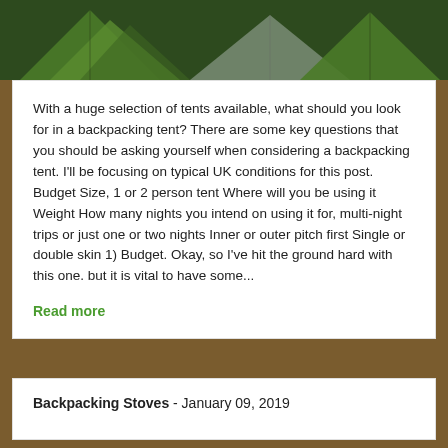[Figure (photo): Top portion of image showing green tents and outdoor gear against a dark green/brown background]
With a huge selection of tents available, what should you look for in a backpacking tent? There are some key questions that you should be asking yourself when considering a backpacking tent. I'll be focusing on typical UK conditions for this post. Budget Size, 1 or 2 person tent Where will you be using it Weight How many nights you intend on using it for, multi-night trips or just one or two nights Inner or outer pitch first Single or double skin 1) Budget. Okay, so I've hit the ground hard with this one. but it is vital to have some...
Read more
Backpacking Stoves - January 09, 2019